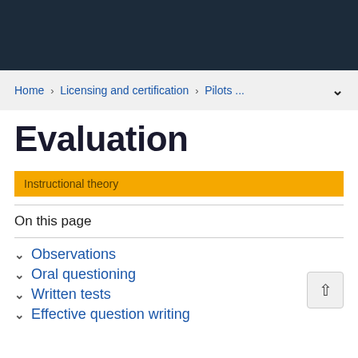Home > Licensing and certification > Pilots ...
Evaluation
Instructional theory
On this page
Observations
Oral questioning
Written tests
Effective question writing